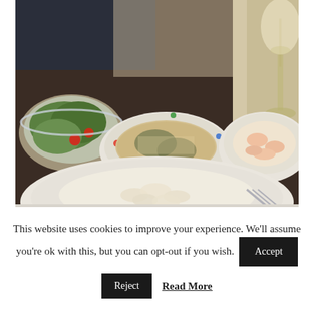[Figure (photo): A dining table scene photographed from a low angle showing multiple dishes: a bowl of green salad with tomatoes on the left, a pizza or flatbread with herbs and cheese on a polka-dot plate in the center, a plate with shrimp or seafood dish on the right, and a large plate with white cream pasta or gnocchi in the foreground. A wine glass with white wine is visible in the background. A person in dark clothing is partially visible seated at the table.]
This website uses cookies to improve your experience. We'll assume you're ok with this, but you can opt-out if you wish. Accept
Reject   Read More